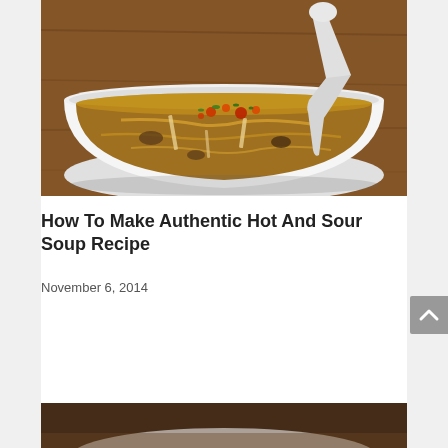[Figure (photo): Close-up photo of a white bowl of hot and sour soup with mushrooms, tofu strips, egg ribbons, chili flakes, green onions, and a white spoon, placed on a wooden surface.]
How To Make Authentic Hot And Sour Soup Recipe
November 6, 2014
[Figure (photo): Partial bottom photo showing another soup dish, slightly visible at the bottom of the page.]